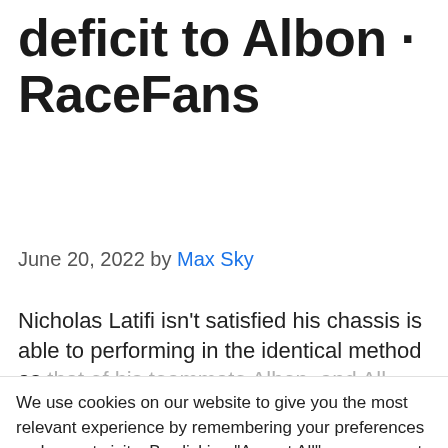deficit to Albon · RaceFans
June 20, 2022 by Max Sky
Nicholas Latifi isn't satisfied his chassis is able to performing in the identical method as that of his teammate Albon, and All...
We use cookies on our website to give you the most relevant experience by remembering your preferences and repeat visits. By clicking "Accept All", you consent to the use of ALL the cookies. However, you may visit "Cookie Settings" to provide a controlled consent.